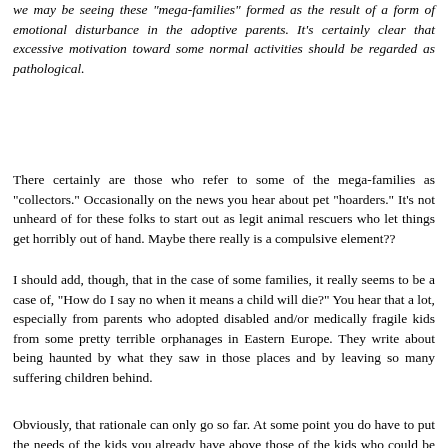we may be seeing these "mega-families" formed as the result of a form of emotional disturbance in the adoptive parents. It's certainly clear that excessive motivation toward some normal activities should be regarded as pathological.
There certainly are those who refer to some of the mega-families as "collectors." Occasionally on the news you hear about pet "hoarders." It's not unheard of for these folks to start out as legit animal rescuers who let things get horribly out of hand. Maybe there really is a compulsive element??
I should add, though, that in the case of some families, it really seems to be a case of, "How do I say no when it means a child will die?" You hear that a lot, especially from parents who adopted disabled and/or medically fragile kids from some pretty terrible orphanages in Eastern Europe. They write about being haunted by what they saw in those places and by leaving so many suffering children behind.
Obviously, that rationale can only go so far. At some point you do have to put the needs of the kids you already have above those of the kids who could be saved. It's just a really hard line for some of these parents to draw, having